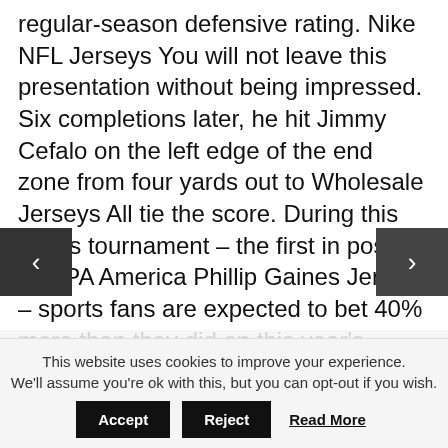regular-season defensive rating. Nike NFL Jerseys You will not leave this presentation without being impressed. Six completions later, he hit Jimmy Cefalo on the left edge of the end zone from four yards out to Wholesale Jerseys All tie the score. During this year's tournament – the first in post-PASPA America Phillip Gaines Jersey – sports fans are expected to bet 40% more than they did on this year's Super Bowl Bill Miller, president and CEO for AGA, said via the Washington D.C.-based organization Unlike
This website uses cookies to improve your experience. We'll assume you're ok with this, but you can opt-out if you wish.
Accept   Reject   Read More